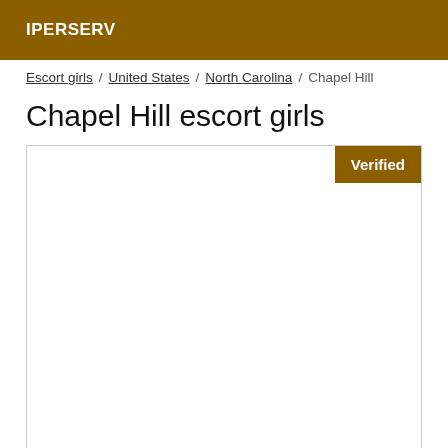IPERSERV
Escort girls / United States / North Carolina / Chapel Hill
Chapel Hill escort girls
[Figure (other): A listing card with a 'Verified' badge in the top right corner. The card body is empty/white.]